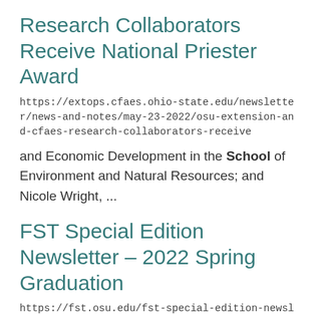Research Collaborators Receive National Priester Award
https://extops.cfaes.ohio-state.edu/newsletter/news-and-notes/may-23-2022/osu-extension-and-cfaes-research-collaborators-receive
and Economic Development in the School of Environment and Natural Resources; and Nicole Wright, ...
FST Special Edition Newsletter – 2022 Spring Graduation
https://fst.osu.edu/fst-special-edition-newsletter-%E2%80%93-2022-spring-graduation
at OSU was participating in College Bowl and being able to compete against the